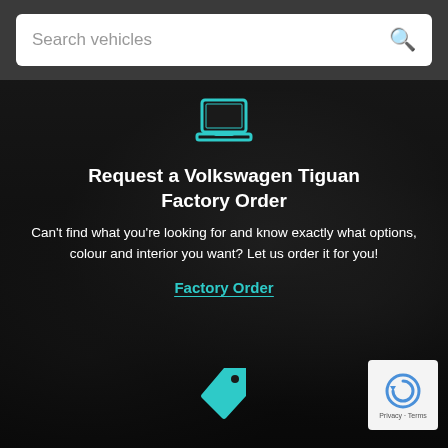[Figure (screenshot): Search bar with placeholder text 'Search vehicles' and a magnifying glass icon on dark grey background]
[Figure (illustration): Teal laptop computer icon]
Request a Volkswagen Tiguan Factory Order
Can't find what you're looking for and know exactly what options, colour and interior you want? Let us order it for you!
Factory Order
[Figure (illustration): Teal price tag icon at bottom of page]
[Figure (logo): Google reCAPTCHA badge with Privacy and Terms links]